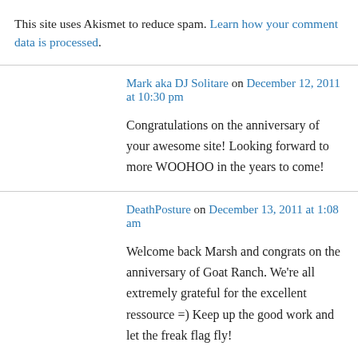This site uses Akismet to reduce spam. Learn how your comment data is processed.
Mark aka DJ Solitare on December 12, 2011 at 10:30 pm
Congratulations on the anniversary of your awesome site! Looking forward to more WOOHOO in the years to come!
DeathPosture on December 13, 2011 at 1:08 am
Welcome back Marsh and congrats on the anniversary of Goat Ranch. We're all extremely grateful for the excellent ressource =) Keep up the good work and let the freak flag fly!